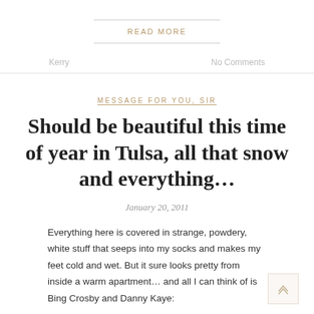READ MORE
Kerry   No Comments
MESSAGE FOR YOU, SIR
Should be beautiful this time of year in Tulsa, all that snow and everything...
January 20, 2011
Everything here is covered in strange, powdery, white stuff that seeps into my socks and makes my feet cold and wet. But it sure looks pretty from inside a warm apartment… and all I can think of is Bing Crosby and Danny Kaye: